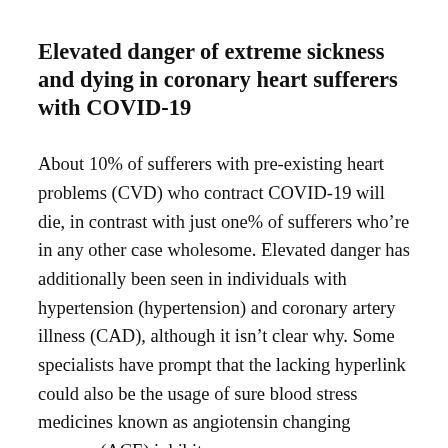Elevated danger of extreme sickness and dying in coronary heart sufferers with COVID-19
About 10% of sufferers with pre-existing heart problems (CVD) who contract COVID-19 will die, in contrast with just one% of sufferers who're in any other case wholesome. Elevated danger has additionally been seen in individuals with hypertension (hypertension) and coronary artery illness (CAD), although it isn't clear why. Some specialists have prompt that the lacking hyperlink could also be the usage of sure blood stress medicines known as angiotensin changing enzyme (ACE) inhibitors